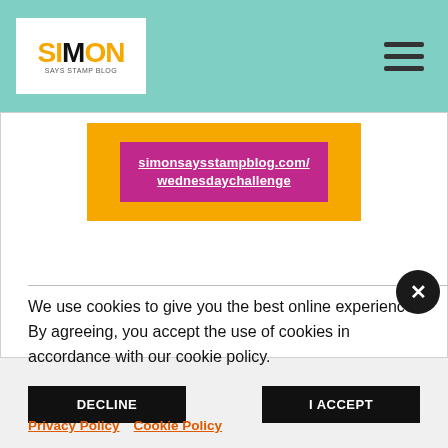Simon Says Stamp Blog
[Figure (illustration): Promotional banner for Simon Says Stamp Blog Wednesday Challenge, showing simonsaysstampblog.com/wednesdaychallenge URL on a magenta/orange banner]
We use cookies to give you the best online experience. By agreeing, you accept the use of cookies in accordance with our cookie policy.
DECLINE
I ACCEPT
Privacy Policy   Cookie Policy